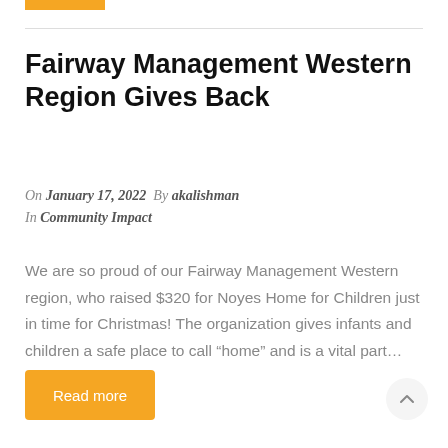Fairway Management Western Region Gives Back
On January 17, 2022  By akalishman
In Community Impact
We are so proud of our Fairway Management Western region, who raised $320 for Noyes Home for Children just in time for Christmas! The organization gives infants and children a safe place to call “home” and is a vital part…
Read more